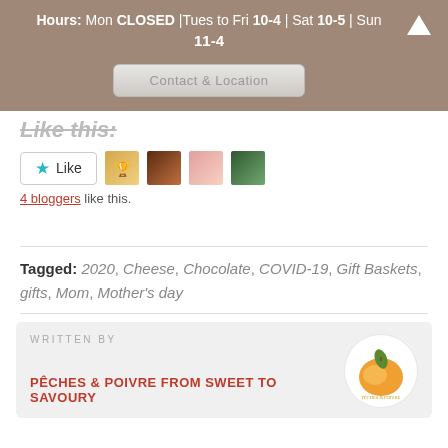Hours: Mon CLOSED |Tues to Fri 10-4 | Sat 10-5 | Sun 11-4
Contact & Location
Like this:
[Figure (screenshot): Like button widget with star icon and user avatars]
4 bloggers like this.
Tagged: 2020, Cheese, Chocolate, COVID-19, Gift Baskets, gifts, Mom, Mother's day
WRITTEN BY
[Figure (logo): Peches & Poivre logo - circular logo with peach illustration]
PÊCHES & POIVRE FROM SWEET TO SAVOURY